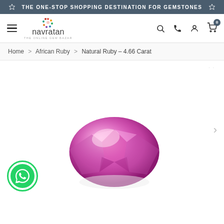THE ONE-STOP SHOPPING DESTINATION FOR GEMSTONES
[Figure (logo): Navratan - The Online Gem Bazar logo with colorful dots and hamburger menu, search, phone, account and cart icons]
Home > African Ruby > Natural Ruby - 4.66 Carat
[Figure (photo): Pink oval faceted natural ruby gemstone, 4.66 carat, displayed on white background with WhatsApp contact button on left and navigation arrow on right]